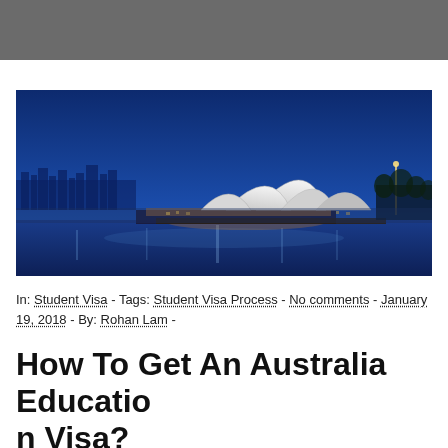[Figure (photo): Night-time panoramic photo of the Sydney Opera House illuminated with warm lights, reflecting on the calm harbour water under a deep blue twilight sky.]
In: Student Visa - Tags: Student Visa Process - No comments - January 19, 2018 - By: Rohan Lam -
How To Get An Australia Education Visa?